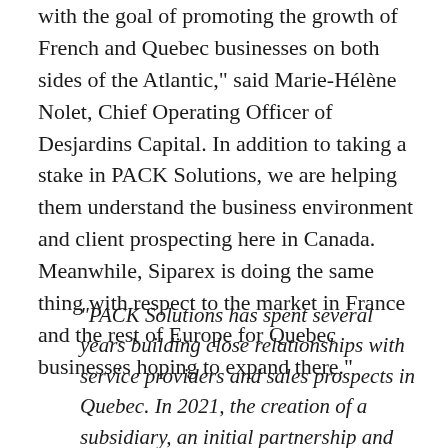with the goal of promoting the growth of French and Quebec businesses on both sides of the Atlantic," said Marie-Hélène Nolet, Chief Operating Officer of Desjardins Capital. In addition to taking a stake in PACK Solutions, we are helping them understand the business environment and client prospecting here in Canada. Meanwhile, Siparex is doing the same thing with respect to the market in France and the rest of Europe for Quebec businesses hoping to expand there."
"PACK Solutions has spent several years building close relationships with service providers and sales prospects in Quebec. In 2021, the creation of a subsidiary, an initial partnership and an investment by Desjardins Capital have marked the